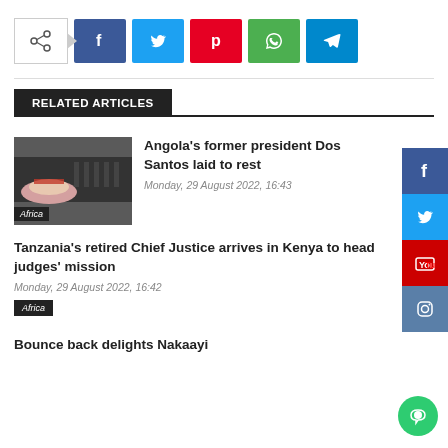[Figure (infographic): Social share bar with share icon and buttons for Facebook, Twitter, Pinterest, WhatsApp, Telegram]
RELATED ARTICLES
[Figure (photo): Photo of Angola funeral ceremony with soldiers and a flower-covered coffin, labeled Africa]
Angola's former president Dos Santos laid to rest
Monday, 29 August 2022, 16:43
Tanzania's retired Chief Justice arrives in Kenya to head judges' mission
Monday, 29 August 2022, 16:42
Africa
Bounce back delights Nakaayi